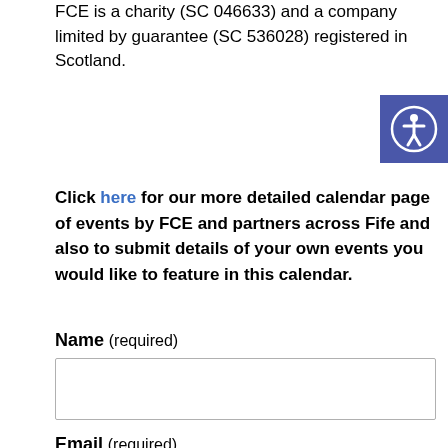FCE is a charity (SC 046633) and a company limited by guarantee (SC 536028) registered in Scotland.
[Figure (other): Accessibility icon button — white person/circle figure on a blue/purple square background]
Click here for our more detailed calendar page of events by FCE and partners across Fife and also to submit details of your own events you would like to feature in this calendar.
Name (required)
Email (required)